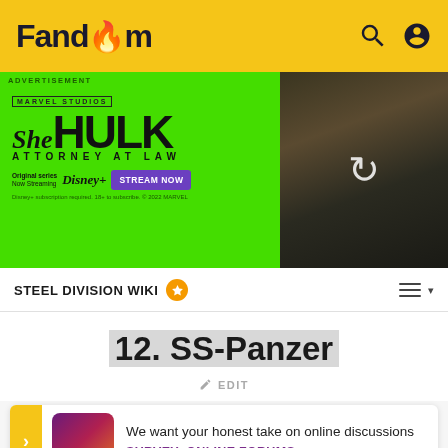Fandom
[Figure (screenshot): She-Hulk: Attorney at Law advertisement banner on green background with Marvel Studios branding, Disney+ streaming info, Stream Now button, and actress photo on right]
STEEL DIVISION WIKI
12. SS-Panzer
EDIT
We want your honest take on online discussions
SURVEY: ONLINE FORUMS